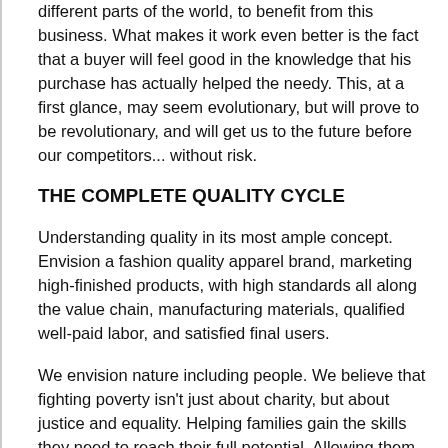different parts of the world, to benefit from this business. What makes it work even better is the fact that a buyer will feel good in the knowledge that his purchase has actually helped the needy. This, at a first glance, may seem evolutionary, but will prove to be revolutionary, and will get us to the future before our competitors... without risk.
THE COMPLETE QUALITY CYCLE
Understanding quality in its most ample concept. Envision a fashion quality apparel brand, marketing high-finished products, with high standards all along the value chain, manufacturing materials, qualified well-paid labor, and satisfied final users.
We envision nature including people. We believe that fighting poverty isn't just about charity, but about justice and equality. Helping families gain the skills they need to reach their full potential. Allowing them